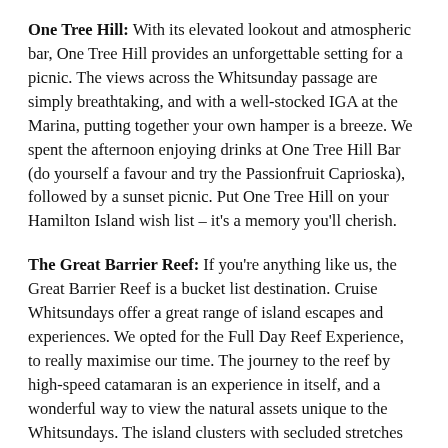One Tree Hill: With its elevated lookout and atmospheric bar, One Tree Hill provides an unforgettable setting for a picnic. The views across the Whitsunday passage are simply breathtaking, and with a well-stocked IGA at the Marina, putting together your own hamper is a breeze. We spent the afternoon enjoying drinks at One Tree Hill Bar (do yourself a favour and try the Passionfruit Caprioska), followed by a sunset picnic. Put One Tree Hill on your Hamilton Island wish list – it's a memory you'll cherish.
The Great Barrier Reef: If you're anything like us, the Great Barrier Reef is a bucket list destination. Cruise Whitsundays offer a great range of island escapes and experiences. We opted for the Full Day Reef Experience, to really maximise our time. The journey to the reef by high-speed catamaran is an experience in itself, and a wonderful way to view the natural assets unique to the Whitsundays. The island clusters with secluded stretches of sandy beach are as stunning as the ever-changing colours of the ocean.